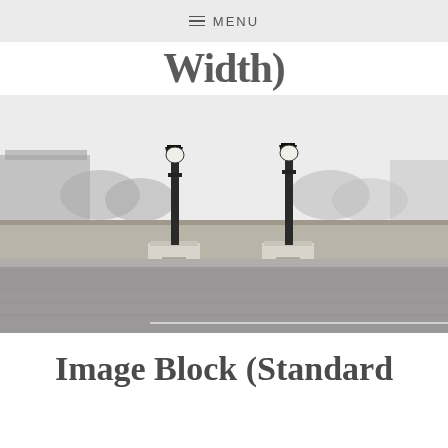≡ MENU
Width)
[Figure (photo): Black and white photograph of a Parisian bridge with two ornate street lamp posts on stone pedestals, a stone wall, and a cobblestone road in the foreground. Trees and a building visible in the misty background.]
Image Block (Standard